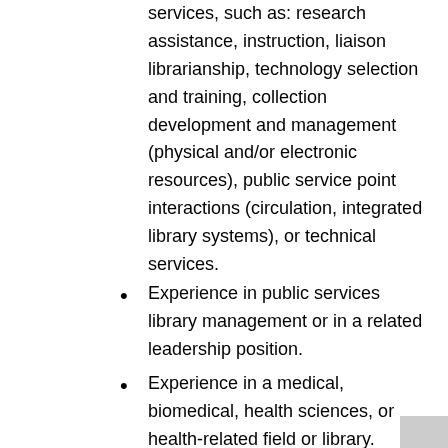services, such as: research assistance, instruction, liaison librarianship, technology selection and training, collection development and management (physical and/or electronic resources), public service point interactions (circulation, integrated library systems), or technical services.
Experience in public services library management or in a related leadership position.
Experience in a medical, biomedical, health sciences, or health-related field or library.